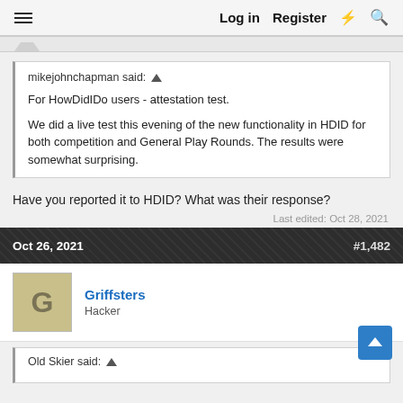≡   Log in   Register   ⚡   🔍
mikejohnchapman said: ↑

For HowDidIDo users - attestation test.

We did a live test this evening of the new functionality in HDID for both competition and General Play Rounds. The results were somewhat surprising.
Have you reported it to HDID? What was their response?
Last edited: Oct 28, 2021
Oct 26, 2021    #1,482
Griffsters
Hacker
Old Skier said: ↑